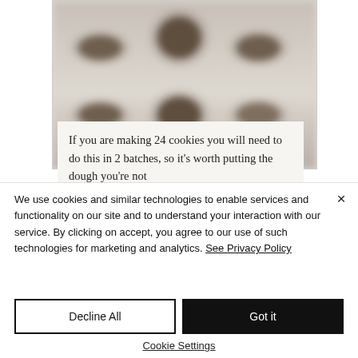[Figure (photo): Blurred photo of cookies on a baking tray, partially visible at top of page]
If you are making 24 cookies you will need to do this in 2 batches, so it's worth putting the dough you're not
We use cookies and similar technologies to enable services and functionality on our site and to understand your interaction with our service. By clicking on accept, you agree to our use of such technologies for marketing and analytics. See Privacy Policy
Decline All
Got it
Cookie Settings